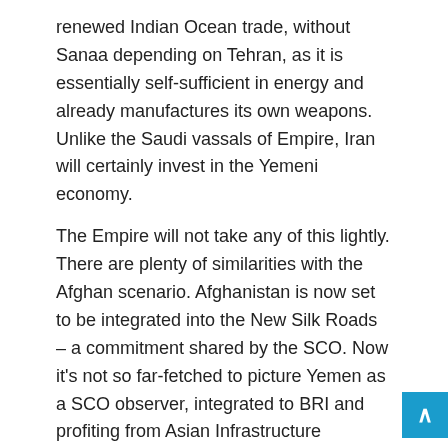renewed Indian Ocean trade, without Sanaa depending on Tehran, as it is essentially self-sufficient in energy and already manufactures its own weapons. Unlike the Saudi vassals of Empire, Iran will certainly invest in the Yemeni economy.
The Empire will not take any of this lightly. There are plenty of similarities with the Afghan scenario. Afghanistan is now set to be integrated into the New Silk Roads – a commitment shared by the SCO. Now it's not so far-fetched to picture Yemen as a SCO observer, integrated to BRI and profiting from Asian Infrastructure Investment Bank (AIIB) packages. Stranger things have happened in the ongoing Eurasia saga.
Pepe Escobar is correspondent-at-large at Asia Time His latest book is 2030. Follow him on Facebook.